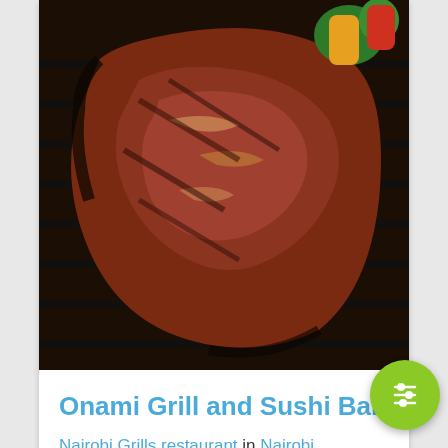[Figure (photo): Close-up photo of grilled steak on a barbecue grill with colorful vegetables in the background]
Onami Grill and Sushi Bar
Nairobi Grills restaurant in Nairobi
[Figure (photo): Interior of a restaurant with warm lighting, palm plants, pendant lights, columns, and a wine/bar display along the right wall]